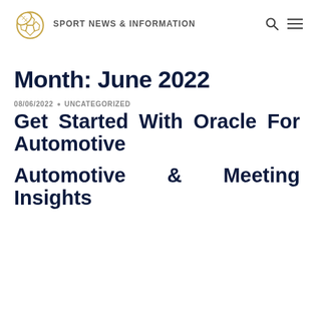SPORT NEWS & INFORMATION
Month: June 2022
08/06/2022 • UNCATEGORIZED
Get Started With Oracle For Automotive
Automotive & Meeting Insights